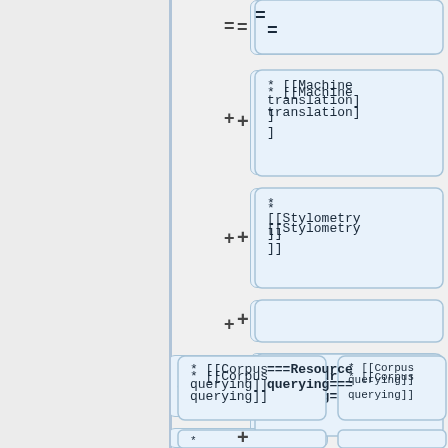[Figure (flowchart): A diff/merge view showing wiki markup boxes with additions (+) and an equals (=) sign. Boxes contain wiki markup text: '=', '* [[Machine translation]]', '* [[Stylometry]]', blank box, '===Resource querying===', '* [[Corpus querying]]' (x2), '* [[Treebank querying]]' (x2), '* [[Format...]